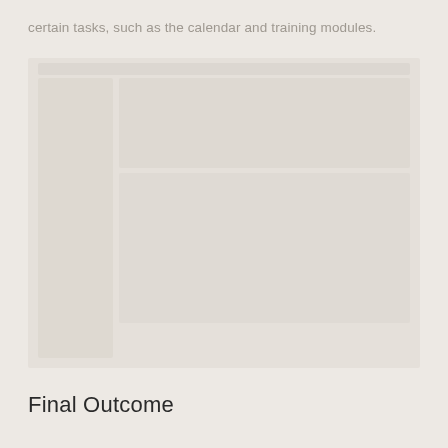certain tasks, such as the calendar and training modules.
[Figure (screenshot): Faded screenshot of a software interface showing a calendar or training module layout with a left sidebar and content panels on the right.]
Final Outcome